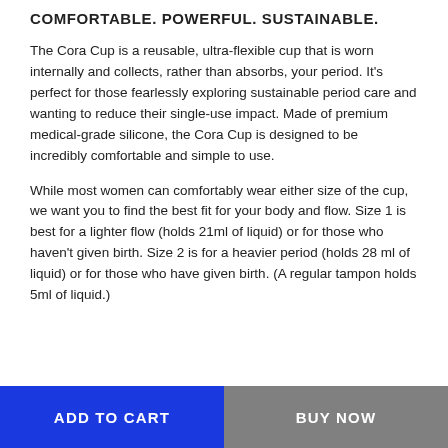COMFORTABLE. POWERFUL. SUSTAINABLE.
The Cora Cup is a reusable, ultra-flexible cup that is worn internally and collects, rather than absorbs, your period. It's perfect for those fearlessly exploring sustainable period care and wanting to reduce their single-use impact. Made of premium medical-grade silicone, the Cora Cup is designed to be incredibly comfortable and simple to use.
While most women can comfortably wear either size of the cup, we want you to find the best fit for your body and flow. Size 1 is best for a lighter flow (holds 21ml of liquid) or for those who haven't given birth. Size 2 is for a heavier period (holds 28 ml of liquid) or for those who have given birth. (A regular tampon holds 5ml of liquid.)
ADD TO CART | BUY NOW